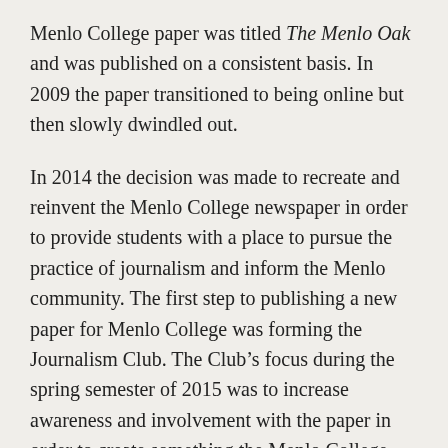Menlo College paper was titled The Menlo Oak and was published on a consistent basis. In 2009 the paper transitioned to being online but then slowly dwindled out.
In 2014 the decision was made to recreate and reinvent the Menlo College newspaper in order to provide students with a place to pursue the practice of journalism and inform the Menlo community. The first step to publishing a new paper for Menlo College was forming the Journalism Club. The Club's focus during the spring semester of 2015 was to increase awareness and involvement with the paper in order to create something the Menlo College community would read. We conducted a survey asking what title students and faculty liked the most and what topics they would read. With the help of the Writing Center, Menlo College students were successfully creating di